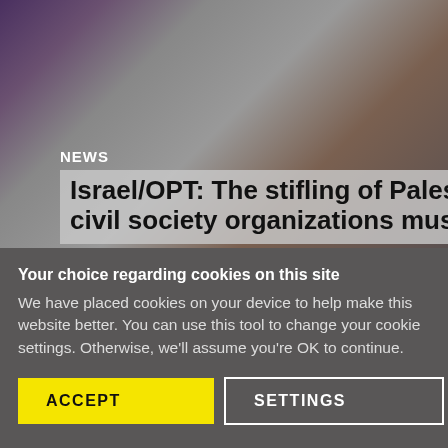[Figure (photo): Photo of people working in a cluttered office with boxes and equipment, overlaid with news headline text about Israel/OPT.]
NEWS
Israel/OPT: The stifling of Palestinian civil society organizations must end
Your choice regarding cookies on this site
We have placed cookies on your device to help make this website better. You can use this tool to change your cookie settings. Otherwise, we'll assume you're OK to continue.
ACCEPT
SETTINGS